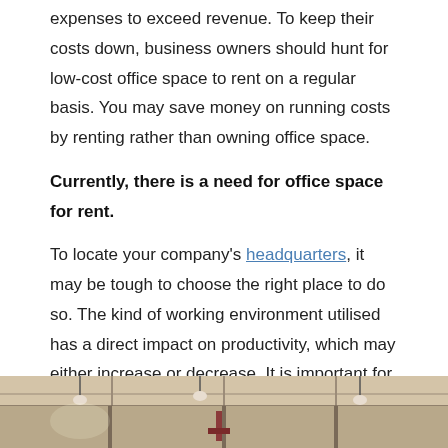expenses to exceed revenue. To keep their costs down, business owners should hunt for low-cost office space to rent on a regular basis. You may save money on running costs by renting rather than owning office space.
Currently, there is a need for office space for rent.
To locate your company's headquarters, it may be tough to choose the right place to do so. The kind of working environment utilised has a direct impact on productivity, which may either increase or decrease. It is important for business owners to evaluate the availability of adequate office space when setting up their businesses. Existing office space may always be renovated if you can't locate the right one for your needs. It's easy to change any space into a rental office with the aid of a contractor knowledgeable in the field.
[Figure (photo): Interior photo of an office or warehouse space with exposed ceiling, pendant lights, and structural elements visible.]